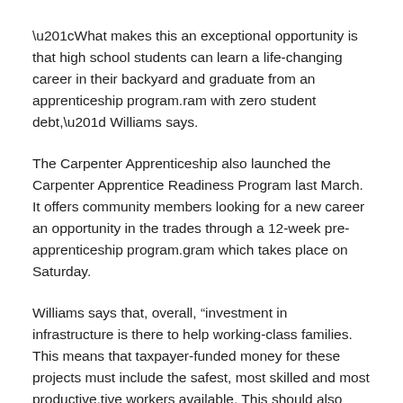“What makes this an exceptional opportunity is that high school students can learn a life-changing career in their backyard and graduate from an apprenticeship program.ram with zero student debt,” Williams says.
The Carpenter Apprenticeship also launched the Carpenter Apprentice Readiness Program last March. It offers community members looking for a new career an opportunity in the trades through a 12-week pre-apprenticeship program.gram which takes place on Saturday.
Williams says that, overall, “investment in infrastructure is there to help working-class families. This means that taxpayer-funded money for these projects must include the safest, most skilled and most productive.tive workers available. This should also include fair wages and benefits for workers building these projects. »